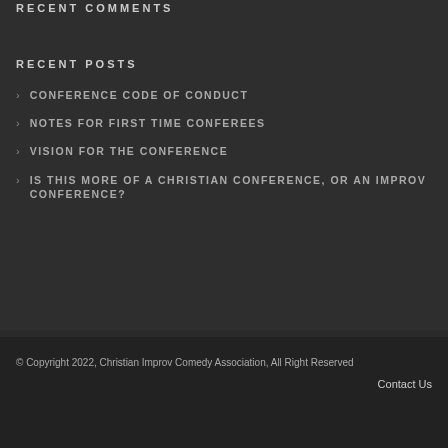RECENT COMMENTS
RECENT POSTS
CONFERENCE CODE OF CONDUCT
NOTES FOR FIRST TIME CONFEREES
VISION FOR THE CONFERENCE
IS THIS MORE OF A CHRISTIAN CONFERENCE, OR AN IMPROV CONFERENCE?
© Copyright 2022, Christian Improv Comedy Association, All Right Reserved
Contact Us